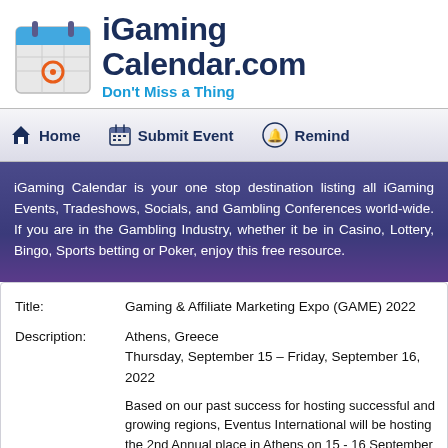[Figure (logo): iGaming Calendar.com logo with calendar icon and tagline 'Don't Miss a Thing']
Home | Submit Event | Remind
iGaming Calendar is your one stop destination listing all iGaming Events, Tradeshows, Socials, and Gambling Conferences world-wide. If you are in the Gambling Industry, whether it be in Casino, Lottery, Bingo, Sports betting or Poker, enjoy this free resource.
| Field | Value |
| --- | --- |
| Title: | Gaming & Affiliate Marketing Expo (GAME) 2022 |
| Description: | Athens, Greece
Thursday, September 15 – Friday, September 16, 2022

Based on our past success for hosting successful and growing regions, Eventus International will be hosting the 2nd Annual place in Athens on 15 - 16 September 2022, the summit will investors, operators, affiliates and providers to learn about |